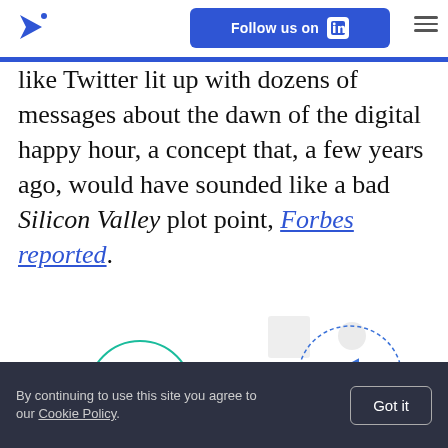Follow us on LinkedIn
like Twitter lit up with dozens of messages about the dawn of the digital happy hour, a concept that, a few years ago, would have sounded like a bad Silicon Valley plot point, Forbes reported.
[Figure (illustration): Line art illustration showing remote collaboration: wifi symbol circle, video camera circle, speech bubble with ellipsis, two small figures, and a large silhouette of a person from behind.]
By continuing to use this site you agree to our Cookie Policy. Got it